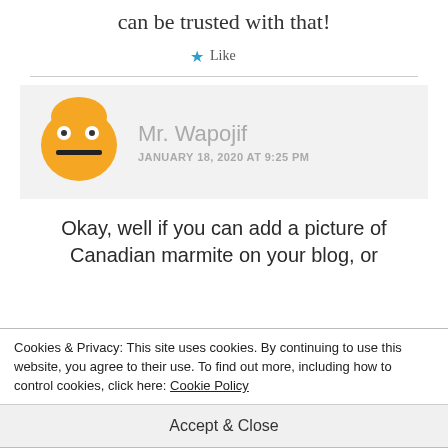can be trusted with that!
★ Like
[Figure (illustration): Comment author block with orange emoji avatar (grimacing face with stitched mouth) and commenter name 'Mr. Wapojif' dated JANUARY 18, 2020 AT 9:25 PM]
Okay, well if you can add a picture of Canadian marmite on your blog, or
Cookies & Privacy: This site uses cookies. By continuing to use this website, you agree to their use. To find out more, including how to control cookies, click here: Cookie Policy
Accept & Close